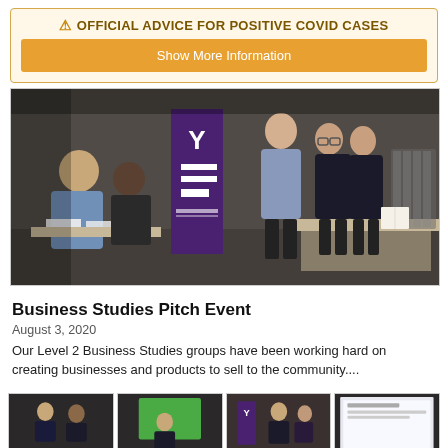⚠ OFFICIAL ADVICE FOR POSITIVE COVID CASES
Show More Information
[Figure (photo): Students presenting a business pitch to judges sitting at a table, with a YES (Young Enterprise Scotland) banner in the background, in a dark-walled venue.]
Business Studies Pitch Event
August 3, 2020
Our Level 2 Business Studies groups have been working hard on creating businesses and products to sell to the community....
[Figure (photo): Thumbnail: students presenting in dark room]
[Figure (photo): Thumbnail: students presenting in front of green screen]
[Figure (photo): Thumbnail: students with YES banner presentation]
[Figure (photo): Thumbnail: presentation slide on screen]